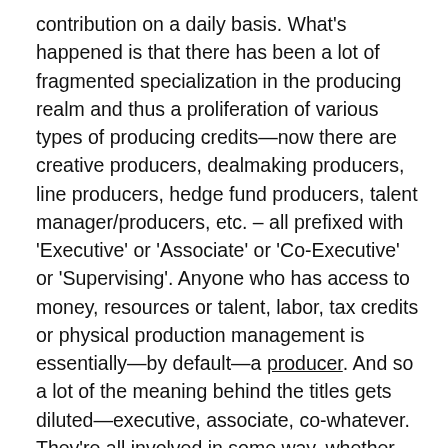contribution on a daily basis. What's happened is that there has been a lot of fragmented specialization in the producing realm and thus a proliferation of various types of producing credits—now there are creative producers, dealmaking producers, line producers, hedge fund producers, talent manager/producers, etc. – all prefixed with 'Executive' or 'Associate' or 'Co-Executive' or 'Supervising'. Anyone who has access to money, resources or talent, labor, tax credits or physical production management is essentially—by default—a producer. And so a lot of the meaning behind the titles gets diluted—executive, associate, co-whatever. They're all involved in some way, whether they found the money, spent the money or developed the script. But it's very hard to discern who is 'THE Producer'. Because they are ALL producers and nobody can produce a movie all by